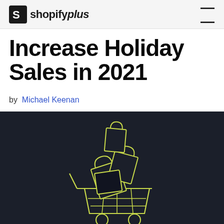shopifyplus
Increase Holiday Sales in 2021
by Michael Keenan
[Figure (illustration): Illustration of a shopping cart overflowing with shopping bags on a dark navy background. The cart and bags are drawn in yellow-green outline style against the dark background.]